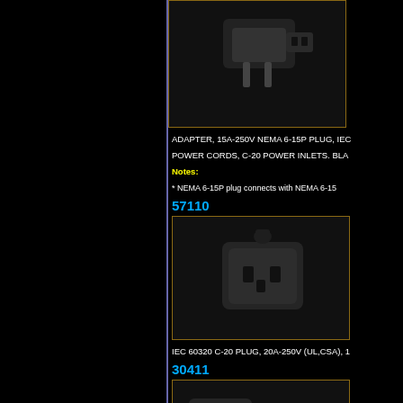[Figure (photo): Adapter plug photo - NEMA 6-15P to IEC C-20, black]
ADAPTER, 15A-250V NEMA 6-15P PLUG, IEC POWER CORDS, C-20 POWER INLETS. BLACK
Notes: * NEMA 6-15P plug connects with NEMA 6-15R
57110
[Figure (photo): IEC 60320 C-20 plug, 20A-250V, black connector]
IEC 60320 C-20 PLUG, 20A-250V (UL,CSA), 16
30411
[Figure (photo): C-20 and C-15 connectors side by side, black]